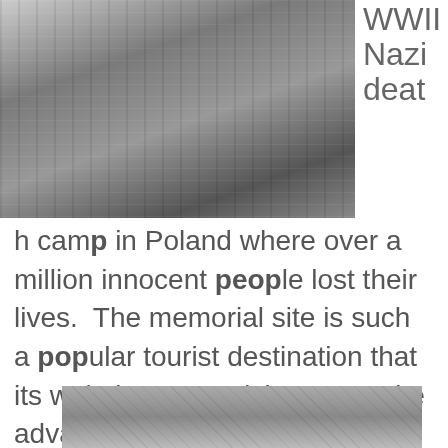[Figure (photo): Black and white photograph of a WWII Nazi concentration camp gate/entrance in Poland, with wooden structures and guard towers visible.]
WWII Nazi deat
h camp in Poland where over a million innocent people lost their lives.  The memorial site is such a popular tourist destination that its website urges visitors to make advance reservations online to avoid being turned away.
[Figure (photo): Black and white photograph showing a rocky or stony surface, partially visible at the bottom of the page.]